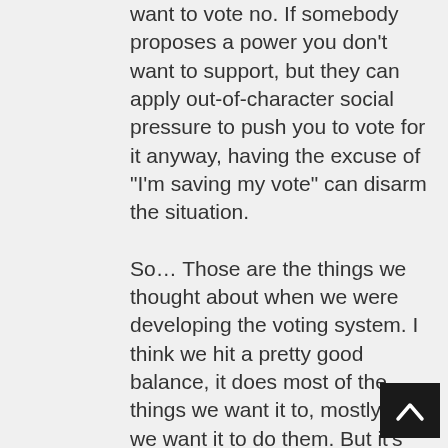want to vote no. If somebody proposes a power you don’t want to support, but they can apply out-of-character social pressure to push you to vote for it anyway, having the excuse of “I’m saving my vote” can disarm the situation.
So… Those are the things we thought about when we were developing the voting system. I think we hit a pretty good balance, it does most of the things we want it to, mostly how we want it to do them. But it’s definitely the kind of system that could have struck a different balance, any number of different